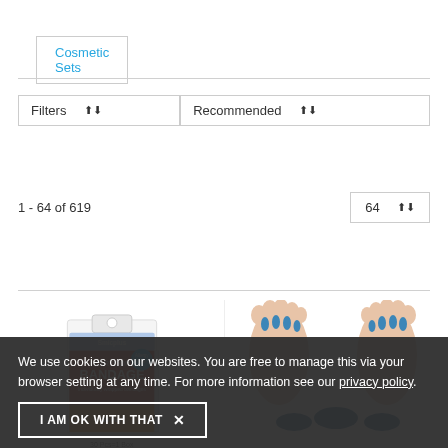Cosmetic Sets
Filters
Recommended
1 - 64 of 619
64
[Figure (photo): Box of Smicplus Cartoon Bandage, 30 Pcs=1 Box]
[Figure (photo): Gel Toe Separator/Toe Spreader shown on two feet with blue silicone separators between toes, and additional pieces below]
30 Pcs=1 Box
We use cookies on our websites. You are free to manage this via your browser setting at any time. For more information see our privacy policy.
I AM OK WITH THAT  X